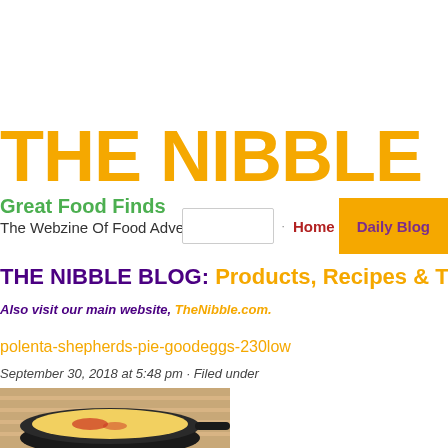THE NIBBLE
Great Food Finds
The Webzine Of Food Adventures
Home  Daily Blog
THE NIBBLE BLOG: Products, Recipes & Trends
Also visit our main website, TheNibble.com.
polenta-shepherds-pie-goodeggs-230low
September 30, 2018 at 5:48 pm · Filed under
[Figure (photo): Photo of a cast iron skillet with polenta shepherd's pie from Good Eggs, showing a yellow polenta topping with red filling visible, on a cloth background]